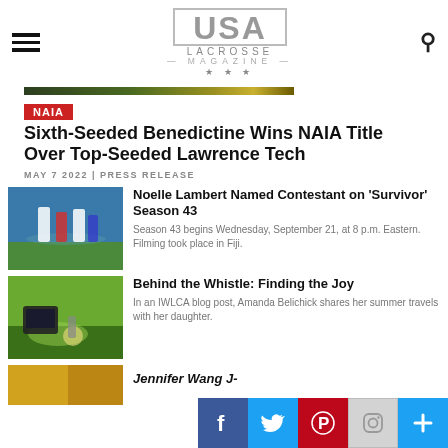USA LACROSSE MAGAZINE
[Figure (photo): Hero image strip — partial crop of lacrosse game]
NAIA
Sixth-Seeded Benedictine Wins NAIA Title Over Top-Seeded Lawrence Tech
MAY 7 2022 | PRESS RELEASE
[Figure (photo): Lacrosse players in a game on a blue turf field]
Noelle Lambert Named Contestant on 'Survivor' Season 43
Season 43 begins Wednesday, September 21, at 8 p.m. Eastern. Filming took place in Fiji.
[Figure (photo): Person sitting on grass with lacrosse equipment]
Behind the Whistle: Finding the Joy
In an IWLCA blog post, Amanda Belichick shares her summer travels with her daughter.
[Figure (photo): Partial image at bottom — Jennifer Wang article thumbnail]
Jennifer Wang J-